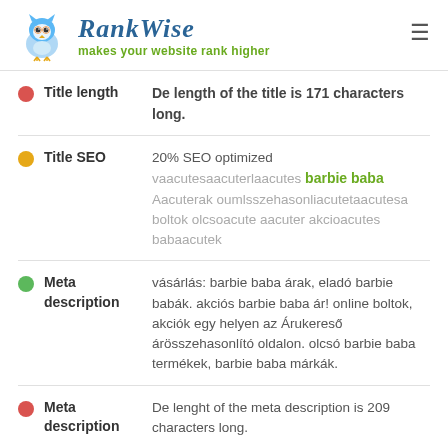RankWise — makes your website rank higher
Title length — De length of the title is 171 characters long.
Title SEO — 20% SEO optimized
vaacutesaacuterlaacutes barbie baba Aacuterak oumlsszehasonliacutetaacutesa boltok olcsoacute aacuter akcioacutes babaacutek
Meta description — vásárlás: barbie baba árak, eladó barbie babák. akciós barbie baba ár! online boltok, akciók egy helyen az Árukereső árösszehasonlító oldalon. olcsó barbie baba termékek, barbie baba márkák.
Meta description — De lenght of the meta description is 209 characters long.